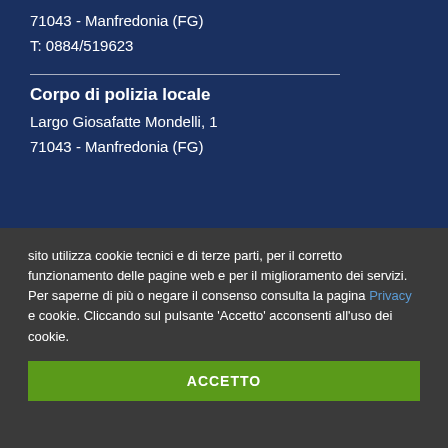71043 - Manfredonia (FG)
T: 0884/519623
Corpo di polizia locale
Largo Giosafatte Mondelli, 1
71043 - Manfredonia (FG)
sito utilizza cookie tecnici e di terze parti, per il corretto funzionamento delle pagine web e per il miglioramento dei servizi. Per saperne di più o negare il consenso consulta la pagina Privacy e cookie. Cliccando sul pulsante 'Accetto' acconsenti all'uso dei cookie.
ACCETTO